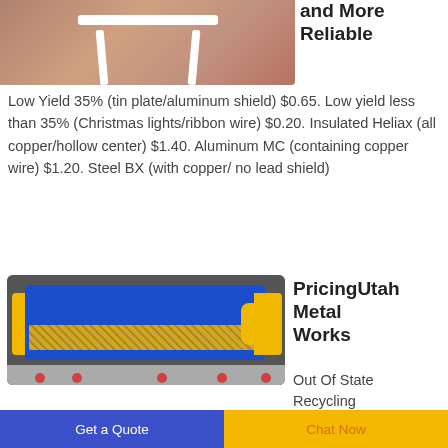[Figure (photo): Photo of a white metal table or stand on a reddish-brown background, showing the legs from below]
and More Reliable
Low Yield 35% (tin plate/aluminum shield) $0.65. Low yield less than 35% (Christmas lights/ribbon wire) $0.20. Insulated Heliax (all copper/hollow center) $1.40. Aluminum MC (containing copper wire) $1.20. Steel BX (with copper/ no lead shield)
[Figure (photo): Photo of an industrial wire stripping or metal recycling machine, blue and yellow colored, with mesh basket, on wheels]
PricingUtah Metal Works
Out Of State Recycling